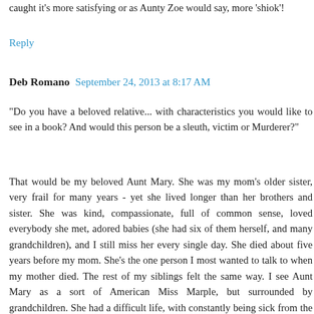caught it's more satisfying or as Aunty Zoe would say, more 'shiok'!
Reply
Deb Romano  September 24, 2013 at 8:17 AM
"Do you have a beloved relative... with characteristics you would like to see in a book? And would this person be a sleuth, victim or Murderer?"
That would be my beloved Aunt Mary. She was my mom's older sister, very frail for many years - yet she lived longer than her brothers and sister. She was kind, compassionate, full of common sense, loved everybody she met, adored babies (she had six of them herself, and many grandchildren), and I still miss her every single day. She died about five years before my mom. She's the one person I most wanted to talk to when my mother died. The rest of my siblings felt the same way. I see Aunt Mary as a sort of American Miss Marple, but surrounded by grandchildren. She had a difficult life, with constantly being sick from the time her youngest child was an infant. She